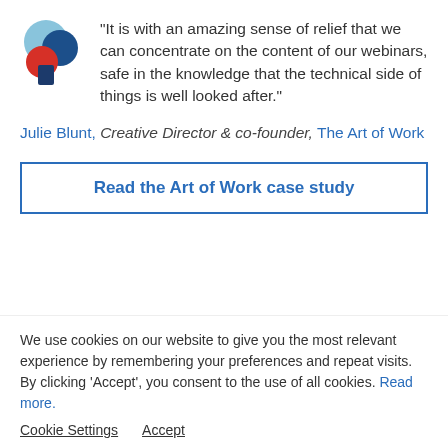[Figure (logo): Circular logo with overlapping red, blue, and light-blue segments forming a stylized abstract shape]
“It is with an amazing sense of relief that we can concentrate on the content of our webinars, safe in the knowledge that the technical side of things is well looked after.”
Julie Blunt, Creative Director & co-founder, The Art of Work
Read the Art of Work case study
We use cookies on our website to give you the most relevant experience by remembering your preferences and repeat visits. By clicking ‘Accept’, you consent to the use of all cookies. Read more.
Cookie Settings  Accept